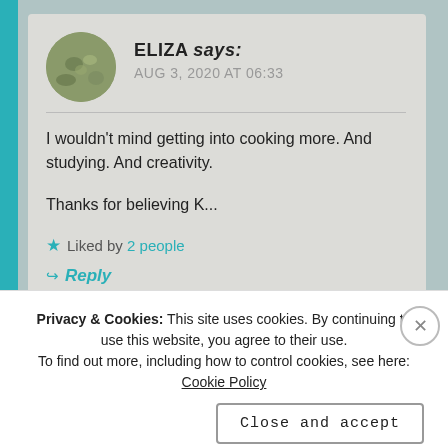ELIZA says: AUG 3, 2020 AT 06:33
I wouldn't mind getting into cooking more. And studying. And creativity.

Thanks for believing K...
★ Liked by 2 people
↪ Reply
Privacy & Cookies: This site uses cookies. By continuing to use this website, you agree to their use.
To find out more, including how to control cookies, see here: Cookie Policy
Close and accept